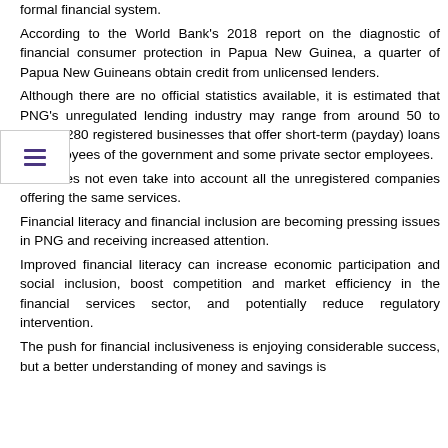formal financial system.
According to the World Bank's 2018 report on the diagnostic of financial consumer protection in Papua New Guinea, a quarter of Papua New Guineans obtain credit from unlicensed lenders.
Although there are no official statistics available, it is estimated that PNG's unregulated lending industry may range from around 50 to around 280 registered businesses that offer short-term (payday) loans to employees of the government and some private sector employees.
This does not even take into account all the unregistered companies offering the same services.
Financial literacy and financial inclusion are becoming pressing issues in PNG and receiving increased attention.
Improved financial literacy can increase economic participation and social inclusion, boost competition and market efficiency in the financial services sector, and potentially reduce regulatory intervention.
The push for financial inclusiveness is enjoying considerable success, but a better understanding of money and savings is